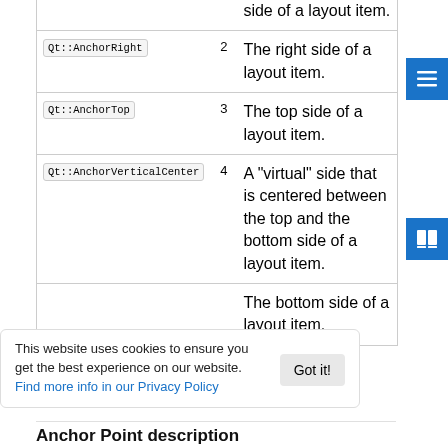| Constant | Value | Description |
| --- | --- | --- |
| Qt::AnchorRight | 2 | The right side of a layout item. |
| Qt::AnchorTop | 3 | The top side of a layout item. |
| Qt::AnchorVerticalCenter | 4 | A "virtual" side that is centered between the top and the bottom side of a layout item. |
|  |  | The bottom side of a layout item. |
This website uses cookies to ensure you get the best experience on our website. Find more info in our Privacy Policy
Anchor Point description